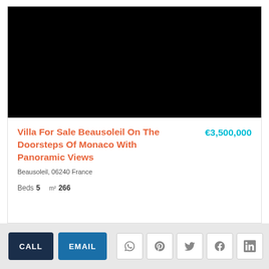[Figure (photo): Black/dark property photo placeholder area at top of listing card]
Villa For Sale Beausoleil On The Doorsteps Of Monaco With Panoramic Views
€3,500,000
Beausoleil, 06240 France
Beds 5  m² 266
CALL  EMAIL  [social share icons: WhatsApp, Pinterest, Twitter, Facebook, LinkedIn]